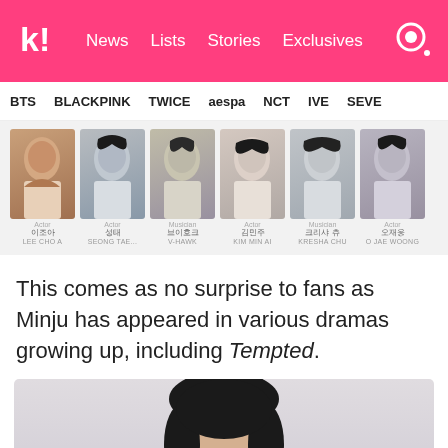k! News Lists Stories Exclusives
BTS  BLACKPINK  TWICE  aespa  NCT  IVE  SEVE
[Figure (photo): Cast strip showing six person profile photos with roles and names: Actor Lee Cho A, Actor Seong Tae, Musician V-Hawk, Actor Kim Min Ai, Musician Kresha Chu, Actor Oh Jae Woong]
This comes as no surprise to fans as Minju has appeared in various dramas growing up, including Tempted.
[Figure (photo): Photo of a woman with black hair against a light gray background, cropped to show top of head and face]